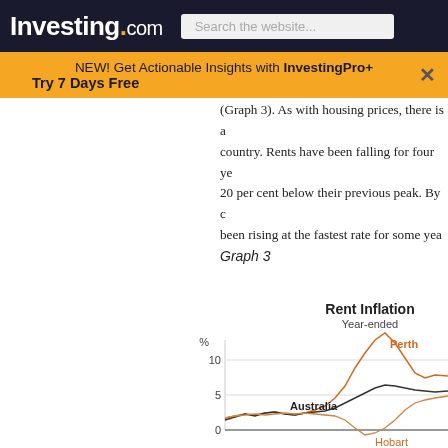Investing.com | Search the website...
NEW! Get Actionable Insights with InvestingPro+ Try 7 Days Free
(Graph 3). As with housing prices, there is a country. Rents have been falling for four ye 20 per cent below their previous peak. By c been rising at the fastest rate for some yea
Graph 3
[Figure (line-chart): Line chart showing rent inflation (year-ended %) for Australia, Perth, and Hobart. Perth peaks around 15%, Australia around 3-4%, Hobart dips near 0 and below.]